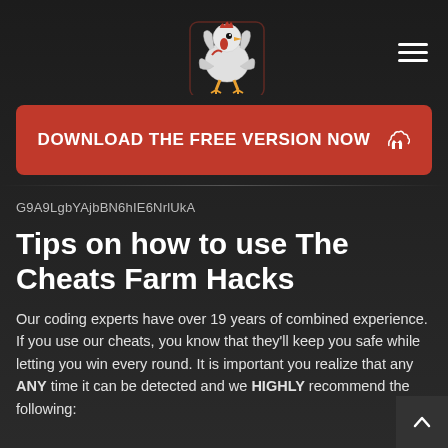[Figure (logo): Cheats Farm logo — stylized rooster mascot with red and white colors, text 'CHEATS FARM' below]
[Figure (other): Hamburger menu icon — three horizontal white lines]
DOWNLOAD THE FREE VERSION NOW 👍
G9A9LgbYAjbBN6hIE6NrlUkA
Tips on how to use The Cheats Farm Hacks
Our coding experts have over 19 years of combined experience. If you use our cheats, you know that they'll keep you safe while letting you win every round. It is important you realize that any ANY time it can be detected and we HIGHLY recommend the following: